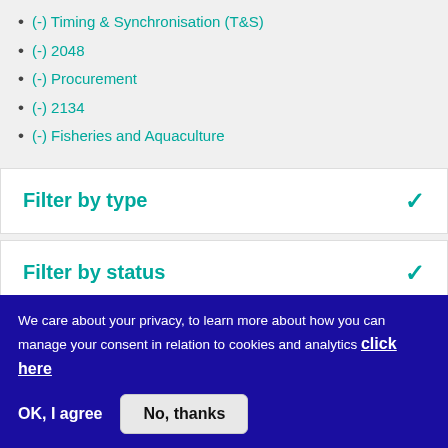(-) Timing & Synchronisation (T&S)
(-) 2048
(-) Procurement
(-) 2134
(-) Fisheries and Aquaculture
Filter by type
Filter by status
We care about your privacy, to learn more about how you can manage your consent in relation to cookies and analytics click here
OK, I agree
No, thanks